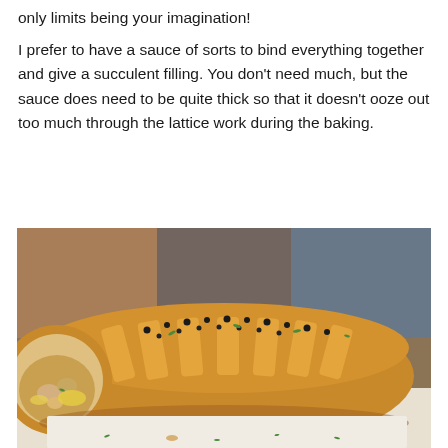only limits being your imagination!
I prefer to have a sauce of sorts to bind everything together and give a succulent filling. You don't need much, but the sauce does need to be quite thick so that it doesn't ooze out too much through the lattice work during the baking.
[Figure (photo): Close-up photo of a sliced pastry braid (lattice-top pastry roll) filled with chicken and cheese, topped with black sesame seeds and chopped herbs, served on a white surface.]